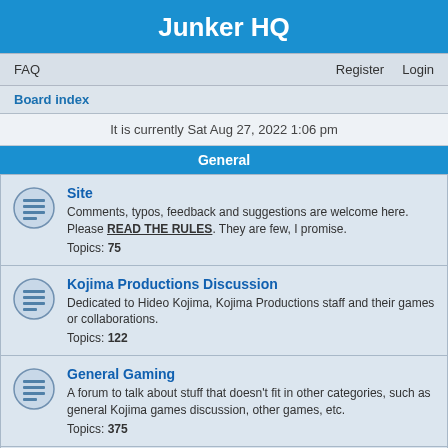Junker HQ
FAQ    Register    Login
Board index
It is currently Sat Aug 27, 2022 1:06 pm
General
Site
Comments, typos, feedback and suggestions are welcome here. Please READ THE RULES. They are few, I promise.
Topics: 75
Kojima Productions Discussion
Dedicated to Hideo Kojima, Kojima Productions staff and their games or collaborations.
Topics: 122
General Gaming
A forum to talk about stuff that doesn't fit in other categories, such as general Kojima games discussion, other games, etc.
Topics: 375
Off Topic
Discussion for anything non-gaming.
Topics: 175
Kojima Games